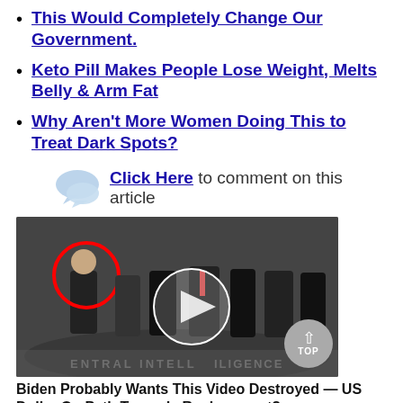This Would Completely Change Our Government.
Keto Pill Makes People Lose Weight, Melts Belly & Arm Fat
Why Aren't More Women Doing This to Treat Dark Spots?
Click Here to comment on this article
[Figure (photo): Group of people standing in CIA headquarters lobby with one person circled in red, and a video play button overlay in the center.]
Biden Probably Wants This Video Destroyed — US Dollar On Path Towards Replacement?